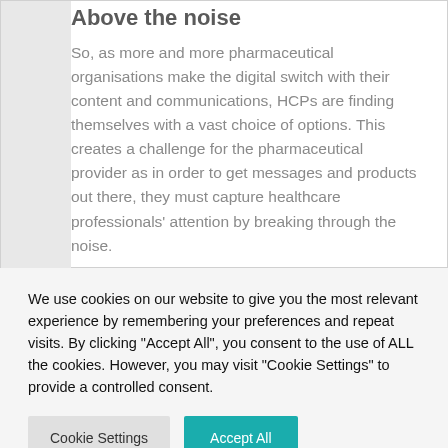Above the noise
So, as more and more pharmaceutical organisations make the digital switch with their content and communications, HCPs are finding themselves with a vast choice of options. This creates a challenge for the pharmaceutical provider as in order to get messages and products out there, they must capture healthcare professionals' attention by breaking through the noise.
We use cookies on our website to give you the most relevant experience by remembering your preferences and repeat visits. By clicking "Accept All", you consent to the use of ALL the cookies. However, you may visit "Cookie Settings" to provide a controlled consent.